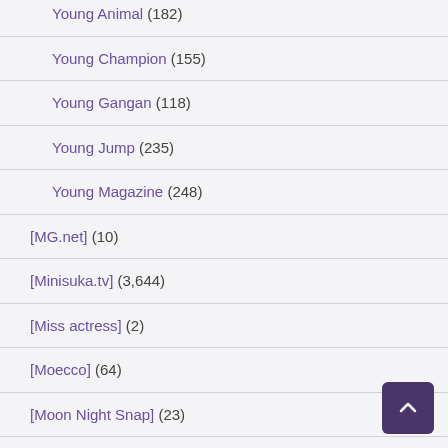Young Animal (182)
Young Champion (155)
Young Gangan (118)
Young Jump (235)
Young Magazine (248)
[MG.net] (10)
[Minisuka.tv] (3,644)
[Miss actress] (2)
[Moecco] (64)
[Moon Night Snap] (23)
[Patreon] (45)
[Photobook] (2,462)
[Princess Collection] (5)